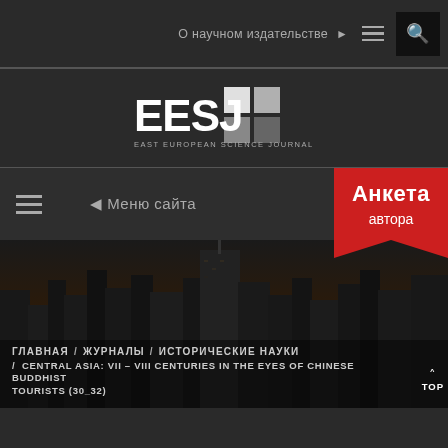О научном издательстве ▶ ☰ 🔍
[Figure (logo): EESJ East European Science Journal logo with colored grid squares]
☰ ◄ Меню сайта | Анкета автора
[Figure (photo): Dark cityscape photo with tall skyscrapers at dusk/twilight]
ГЛАВНАЯ / ЖУРНАЛЫ / ИСТОРИЧЕСКИЕ НАУКИ / CENTRAL ASIA: VII – VIII CENTURIES IN THE EYES OF CHINESE BUDDHIST TOURISTS (30_32)